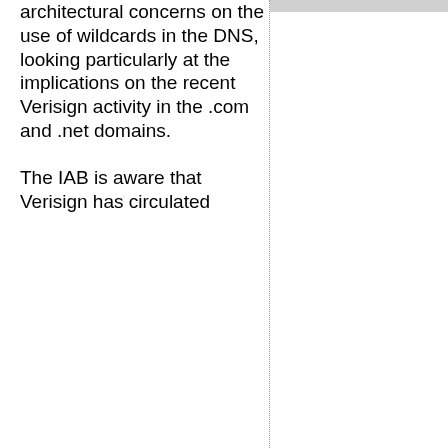architectural concerns on the use of wildcards in the DNS, looking particularly at the implications on the recent Verisign activity in the .com and .net domains.
The IAB is aware that Verisign has circulated a DNS...